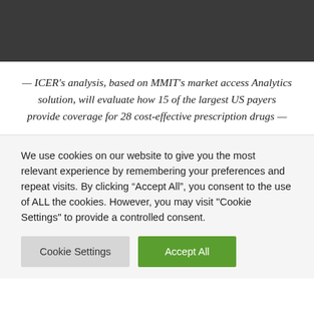[Figure (other): Dark gray header banner at top of page]
— ICER's analysis, based on MMIT's market access Analytics solution, will evaluate how 15 of the largest US payers provide coverage for 28 cost-effective prescription drugs —
We use cookies on our website to give you the most relevant experience by remembering your preferences and repeat visits. By clicking “Accept All”, you consent to the use of ALL the cookies. However, you may visit "Cookie Settings" to provide a controlled consent.
Cookie Settings | Accept All